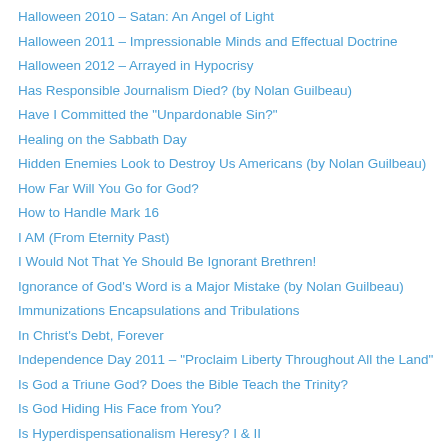Halloween 2010 – Satan: An Angel of Light
Halloween 2011 – Impressionable Minds and Effectual Doctrine
Halloween 2012 – Arrayed in Hypocrisy
Has Responsible Journalism Died? (by Nolan Guilbeau)
Have I Committed the "Unpardonable Sin?"
Healing on the Sabbath Day
Hidden Enemies Look to Destroy Us Americans (by Nolan Guilbeau)
How Far Will You Go for God?
How to Handle Mark 16
I AM (From Eternity Past)
I Would Not That Ye Should Be Ignorant Brethren!
Ignorance of God's Word is a Major Mistake (by Nolan Guilbeau)
Immunizations Encapsulations and Tribulations
In Christ's Debt, Forever
Independence Day 2011 – "Proclaim Liberty Throughout All the Land"
Is God a Triune God? Does the Bible Teach the Trinity?
Is God Hiding His Face from You?
Is Hyperdispensationalism Heresy? I & II
Is Jesus Christ Dead in Vain? (by Nolan Guilbeau)
Is Purgatory Really Taught in the Bible?